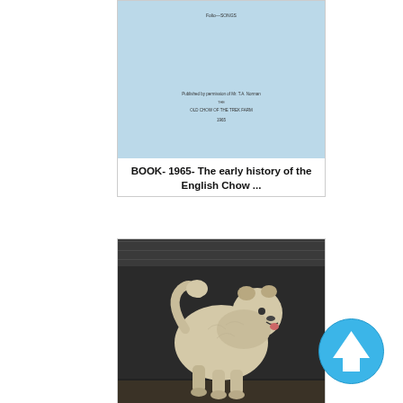[Figure (photo): Blue book cover from 1965 about the early history of the English Chow, with small printed text in the center listing author and title details]
BOOK- 1965- The early history of the English Chow ...
[Figure (photo): Black and white photograph of a Chow Chow dog standing in profile, showing its fluffy coat and characteristic curled tail]
[Figure (illustration): Blue circular up-arrow button icon]